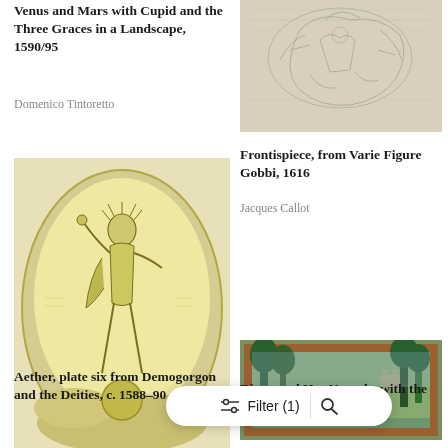Venus and Mars with Cupid and the Three Graces in a Landscape, 1590/95
Domenico Tintoretto
[Figure (illustration): Engraving showing mythological scene with figures, top right]
Frontispiece, from Varie Figure Gobbi, 1616
Jacques Callot
[Figure (illustration): Large oval engraving of standing male figure (Aether) with dramatic pose, yellow-green tones]
[Figure (illustration): Colorful tapestry with hunting scene and landscape, Diana and Nymphs]
Diana and Her Nymphs with the Hu... 1600
Aether, plate six from Demogorgon and the Deities, c. 1588-90